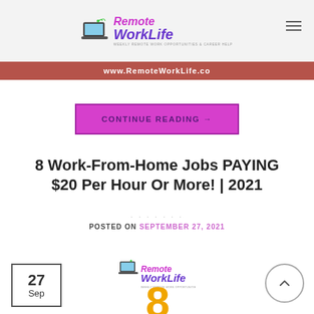Remote WorkLife - WEEKLY REMOTE WORK OPPORTUNITIES & CAREER HELP - www.RemoteWorkLife.co
[Figure (logo): Remote WorkLife logo with laptop icon, pink and purple text, tagline 'WEEKLY REMOTE WORK OPPORTUNITIES & CAREER HELP']
www.RemoteWorkLife.co
CONTINUE READING →
8 Work-From-Home Jobs PAYING $20 Per Hour Or More! | 2021
POSTED ON SEPTEMBER 27, 2021
[Figure (logo): Remote WorkLife logo thumbnail with laptop icon]
27 Sep
8